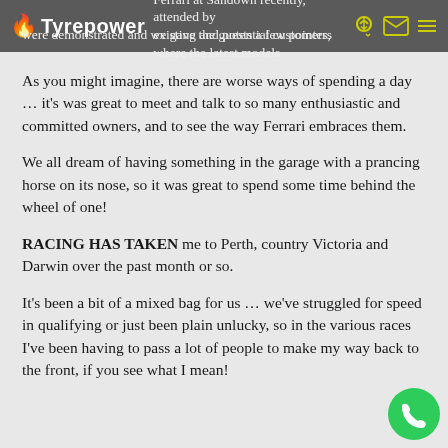Tyrepower — I spent time with Ferrari at Sandown recently, attended by existing and potential customers, where the latest models were demonstrated and we gave the guests a few pointers on how to get the best out of driving them.
As you might imagine, there are worse ways of spending a day … it's was great to meet and talk to so many enthusiastic and committed owners, and to see the way Ferrari embraces them.
We all dream of having something in the garage with a prancing horse on its nose, so it was great to spend some time behind the wheel of one!
RACING HAS TAKEN me to Perth, country Victoria and Darwin over the past month or so.
It's been a bit of a mixed bag for us … we've struggled for speed in qualifying or just been plain unlucky, so in the various races I've been having to pass a lot of people to make my way back to the front, if you see what I mean!